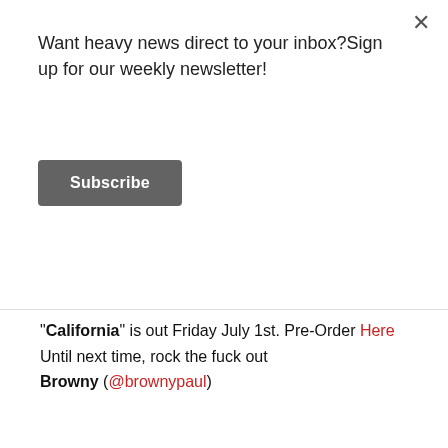Want heavy news direct to your inbox?Sign up for our weekly newsletter!
Subscribe
"California" is out Friday July 1st. Pre-Order Here
Until next time, rock the fuck out
Browny (@brownypaul)
[Figure (photo): Black and white photo of three members of blink-182 band, one wearing sunglasses and octopus t-shirt, one with neck tattoos wearing 'Learned the Hard Way' shirt, one wearing Hurley shirt]